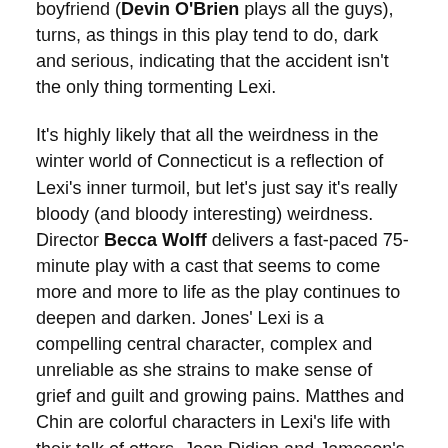boyfriend (Devin O'Brien plays all the guys), turns, as things in this play tend to do, dark and serious, indicating that the accident isn't the only thing tormenting Lexi.
It's highly likely that all the weirdness in the winter world of Connecticut is a reflection of Lexi's inner turmoil, but let's just say it's really bloody (and bloody interesting) weirdness. Director Becca Wolff delivers a fast-paced 75-minute play with a cast that seems to come more and more to life as the play continues to deepen and darken. Jones' Lexi is a compelling central character, complex and unreliable as she strains to make sense of grief and guilt and growing pains. Matthes and Chin are colorful characters in Lexi's life with their talk of otters, Joan Didion and Jameson's Irish whiskey, but the stage really comes to life with the entrance of Aily Roper as Chloe, a high-energy coed with a penchant for petitions and protests and almost Tourette-like truth telling. Roper has the kind of wild, unpredictable presence that feeds the unsettling nature of this comedy. Sure it's funny, but it's also deadly serious, and so is Roper (whose pre-curtain call routine is priceless).